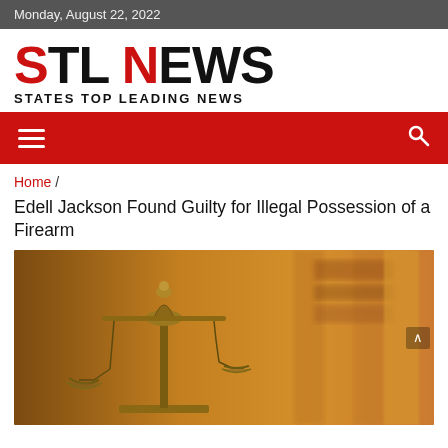Monday, August 22, 2022
[Figure (logo): STL NEWS logo with tagline STATES TOP LEADING NEWS]
[Figure (infographic): Red navigation bar with hamburger menu icon and search icon]
Home /
Edell Jackson Found Guilty for Illegal Possession of a Firearm
[Figure (photo): Photo of antique bronze scales of justice on a courtroom background with blurred wooden furniture and columns]